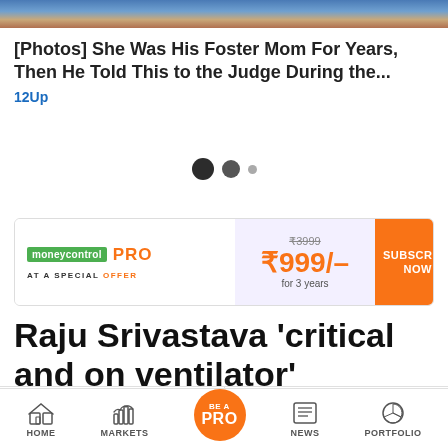[Figure (photo): Partial photo of a person at the top of the page, cropped]
[Photos] She Was His Foster Mom For Years, Then He Told This to the Judge During the...
12Up
[Figure (other): Carousel pagination dots: two large dark dots and one small gray dot]
[Figure (infographic): Moneycontrol PRO advertisement banner. AT A SPECIAL OFFER. Price crossed ₹3999, now ₹999/- for 3 years. SUBSCRIBE NOW button.]
Raju Srivastava 'critical and on ventilator'
Raju Srivastava 'critical and on ventilator' foll...
INOX CEO sees FY23 to be one of the best-f...
HOME  MARKETS  BE A PRO  NEWS  PORTFOLIO